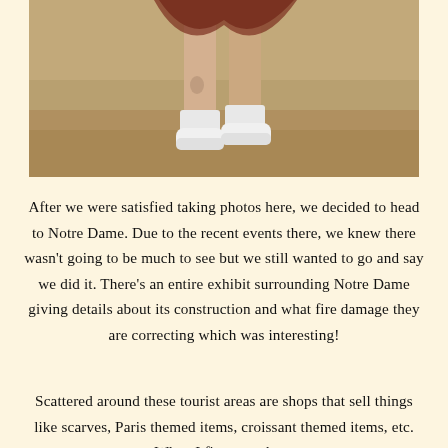[Figure (photo): Photo showing the lower body of a person wearing a brown floral dress, white socks, and white sneakers, standing on sandy/dusty ground outdoors.]
After we were satisfied taking photos here, we decided to head to Notre Dame. Due to the recent events there, we knew there wasn't going to be much to see but we still wanted to go and say we did it. There's an entire exhibit surrounding Notre Dame giving details about its construction and what fire damage they are correcting which was interesting!
Scattered around these tourist areas are shops that sell things like scarves, Paris themed items, croissant themed items, etc. When I first saw these